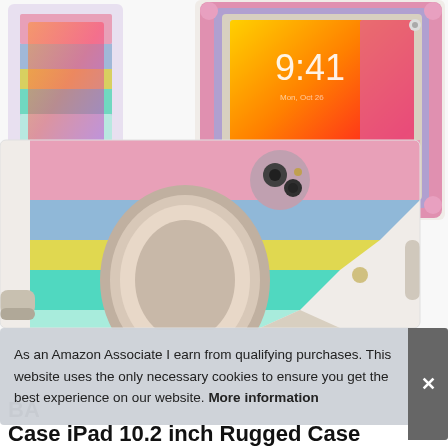[Figure (photo): Product photo of a rainbow-colored iPad case with a rotating ring stand, shown from the back at an angle. A smaller inset image in the top-left shows the front of the case with the iPad screen visible. A larger image on the top-right shows the front of the case in pink with the iPad screen showing 9:41. The main case has pink, blue, yellow, and teal/mint stripe colors with a ring stand in rose gold/beige tones.]
As an Amazon Associate I earn from qualifying purchases. This website uses the only necessary cookies to ensure you get the best experience on our website. More information
BA
Case iPad 10.2 inch Rugged Case